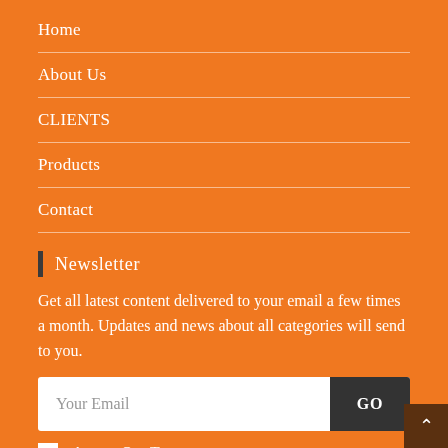Home
About Us
CLIENTS
Products
Contact
Newsletter
Get all latest content delivered to your email a few times a month. Updates and news about all categories will send to you.
Your Email
GO
Accept Our Terms